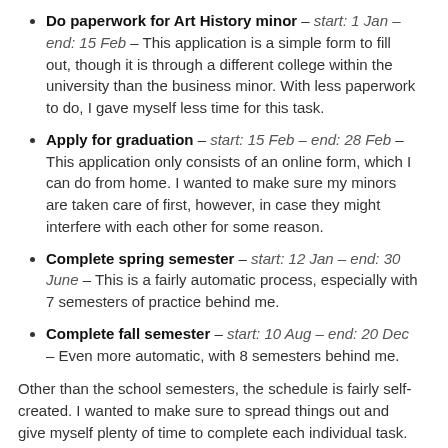Do paperwork for Art History minor – start: 1 Jan – end: 15 Feb – This application is a simple form to fill out, though it is through a different college within the university than the business minor. With less paperwork to do, I gave myself less time for this task.
Apply for graduation – start: 15 Feb – end: 28 Feb – This application only consists of an online form, which I can do from home. I wanted to make sure my minors are taken care of first, however, in case they might interfere with each other for some reason.
Complete spring semester – start: 12 Jan – end: 30 June – This is a fairly automatic process, especially with 7 semesters of practice behind me.
Complete fall semester – start: 10 Aug – end: 20 Dec – Even more automatic, with 8 semesters behind me.
Other than the school semesters, the schedule is fairly self-created. I wanted to make sure to spread things out and give myself plenty of time to complete each individual task.